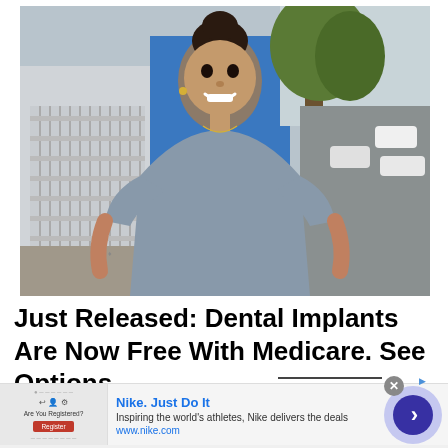[Figure (photo): A smiling young woman with dark hair in an updo, wearing a fitted grey short-sleeve dress, standing outdoors on a sidewalk with a tree and buildings in the background.]
Just Released: Dental Implants Are Now Free With Medicare. See Options
[Figure (screenshot): Advertisement banner: Nike. Just Do It — Inspiring the world's athletes, Nike delivers the deals. www.nike.com. With a preview thumbnail on the left and a blue circular arrow button on the right.]